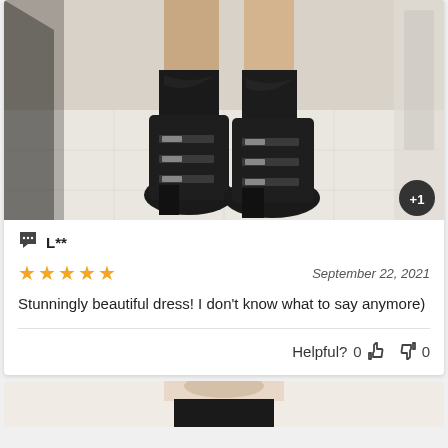[Figure (photo): Photo of black lace-up ankle boots/shoes worn with dark socks, standing on light tile floor. A '+1' badge appears in the bottom-right corner of the image.]
L**
★★★★★  September 22, 2021
Stunningly beautiful dress! I don't know what to say anymore)
Helpful?  0  👍  👎  0
[Figure (photo): Partial view of second review photo showing a person wearing a dark outfit, cropped at bottom of page.]